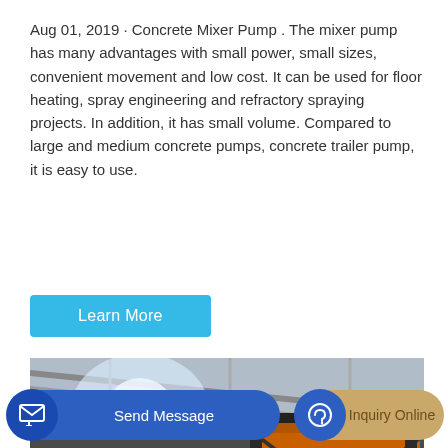Aug 01, 2019 · Concrete Mixer Pump . The mixer pump has many advantages with small power, small sizes, convenient movement and low cost. It can be used for floor heating, spray engineering and refractory spraying projects. In addition, it has small volume. Compared to large and medium concrete pumps, concrete trailer pump, it is easy to use.
[Figure (other): Button labeled 'Learn More' with cyan/sky-blue background]
[Figure (photo): Industrial concrete mixer pump equipment inside a warehouse/factory. Large cylindrical mixing drum visible on the left with red opening, dark green metal frame, and an orange aggregate hopper on the right side. Factory roof structure visible in the background.]
[Figure (other): Bottom navigation bar with two buttons: 'Send Message' on a blue rounded button with message icon, and 'Inquiry Online' on a tan/gold rounded button with headset icon.]